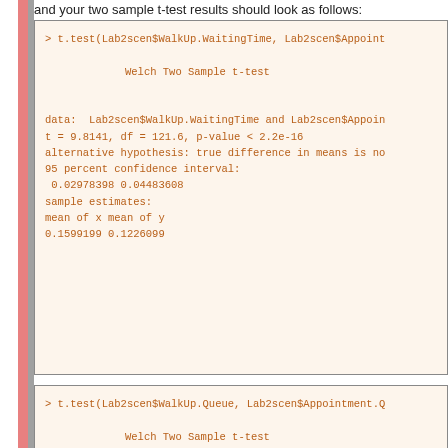and your two sample t-test results should look as follows:
> t.test(Lab2scen$WalkUp.WaitingTime, Lab2scen$Appoint

        Welch Two Sample t-test

data:  Lab2scen$WalkUp.WaitingTime and Lab2scen$Appoin
t = 9.8141, df = 121.6, p-value < 2.2e-16
alternative hypothesis: true difference in means is no
95 percent confidence interval:
 0.02978398 0.04483608
sample estimates:
mean of x mean of y
0.1599199 0.1226099
> t.test(Lab2scen$WalkUp.Queue, Lab2scen$Appointment.Q

        Welch Two Sample t-test

data:  Lab2scen$WalkUp.Queue and Lab2scen$Appointment.
t = 9.6188, df = 116.33, p-value < 2.2e-16